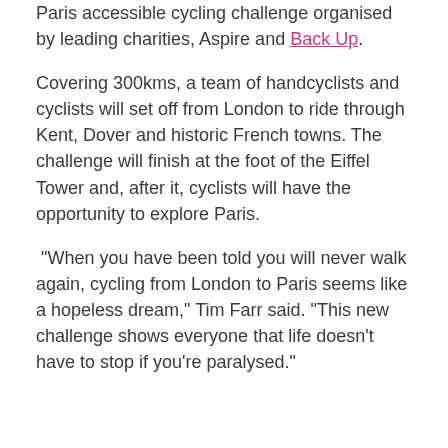Paris accessible cycling challenge organised by leading charities, Aspire and Back Up.
Covering 300kms, a team of handcyclists and cyclists will set off from London to ride through Kent, Dover and historic French towns. The challenge will finish at the foot of the Eiffel Tower and, after it, cyclists will have the opportunity to explore Paris.
“When you have been told you will never walk again, cycling from London to Paris seems like a hopeless dream,” Tim Farr said. “This new challenge shows everyone that life doesn’t have to stop if you’re paralysed.”